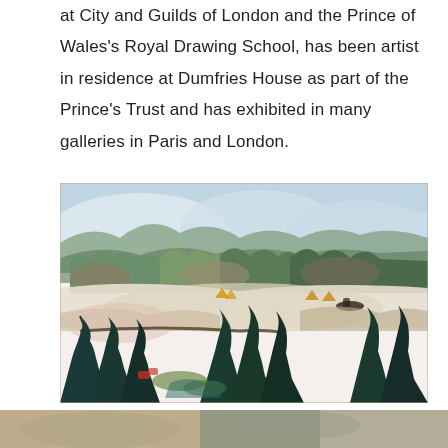at City and Guilds of London and the Prince of Wales's Royal Drawing School, has been artist in residence at Dumfries House as part of the Prince's Trust and has exhibited in many galleries in Paris and London.
[Figure (illustration): Watercolour landscape painting showing a panoramic view with green trees, dark silhouetted conifers in the foreground, a valley, snow-capped hills in the background, and small figures in the middle distance. Loose, expressive brushwork with blues, greens, browns and earth tones.]
[Figure (photo): Partial view of another artwork or photograph at the bottom of the page, cropped.]